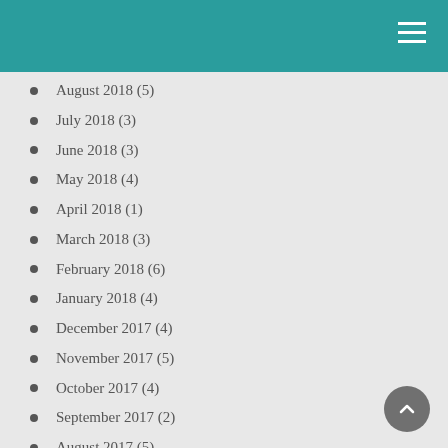August 2018 (5)
July 2018 (3)
June 2018 (3)
May 2018 (4)
April 2018 (1)
March 2018 (3)
February 2018 (6)
January 2018 (4)
December 2017 (4)
November 2017 (5)
October 2017 (4)
September 2017 (2)
August 2017 (5)
July 2017 (7)
June 2017 (6)
May 2017 (7)
April 2017 (4)